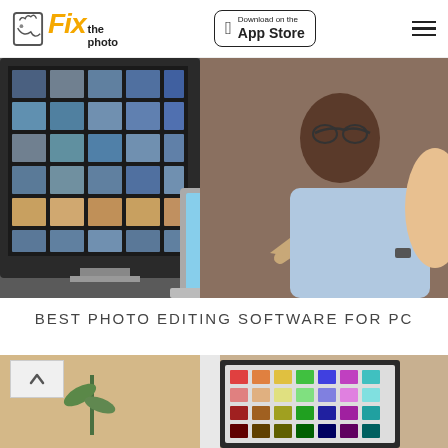Fix the photo | Download on the App Store
[Figure (photo): Two people reviewing photo contact sheets on a large monitor and a laptop computer on a wooden desk; person on left is pointing at the laptop screen showing a model in white outfit.]
BEST PHOTO EDITING SOFTWARE FOR PC
[Figure (photo): Partially visible photo of a computer monitor displaying a color grid/palette, with a plant and warm lighting in the background.]